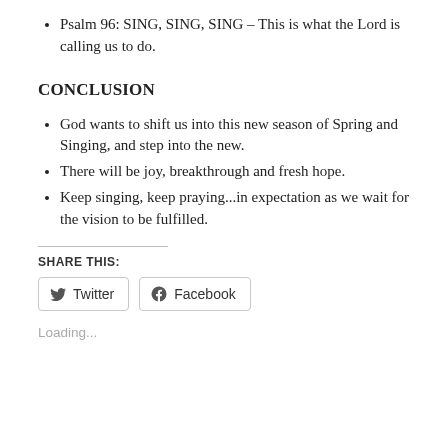Psalm 96: SING, SING, SING – This is what the Lord is calling us to do.
CONCLUSION
God wants to shift us into this new season of Spring and Singing, and step into the new.
There will be joy, breakthrough and fresh hope.
Keep singing, keep praying...in expectation as we wait for the vision to be fulfilled.
SHARE THIS:
Twitter  Facebook
Loading...